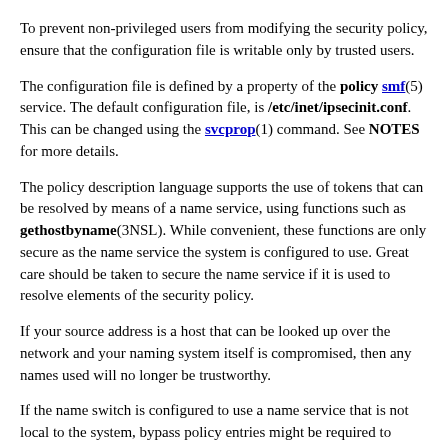To prevent non-privileged users from modifying the security policy, ensure that the configuration file is writable only by trusted users.
The configuration file is defined by a property of the policy smf(5) service. The default configuration file, is /etc/inet/ipsecinit.conf. This can be changed using the svcprop(1) command. See NOTES for more details.
The policy description language supports the use of tokens that can be resolved by means of a name service, using functions such as gethostbyname(3NSL). While convenient, these functions are only secure as the name service the system is configured to use. Great care should be taken to secure the name service if it is used to resolve elements of the security policy.
If your source address is a host that can be looked up over the network and your naming system itself is compromised, then any names used will no longer be trustworthy.
If the name switch is configured to use a name service that is not local to the system, bypass policy entries might be required to prevent the policy from preventing communication to the name service. See nsswitch.conf(4).